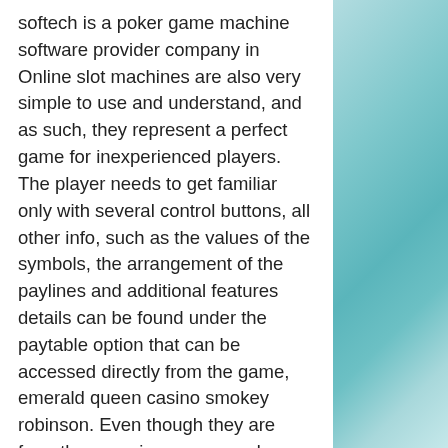softech is a poker game machine software provider company in Online slot machines are also very simple to use and understand, and as such, they represent a perfect game for inexperienced players. The player needs to get familiar only with several control buttons, all other info, such as the values of the symbols, the arrangement of the paylines and additional features details can be found under the paytable option that can be accessed directly from the game, emerald queen casino smokey robinson. Even though they are free, these casino games and apps will keep you coming back for more due to their amazing designs and mind-blowing features, st. kitts and nevis royal beach casino. Slots: Hot Vegas Slots Casino. Neither is outright better than the other, but they each have their place, prix lit parapluie geant casino. FanDuel and Barstool both offer a risk-free
[Figure (illustration): Teal/turquoise water texture background on the right side of the page]